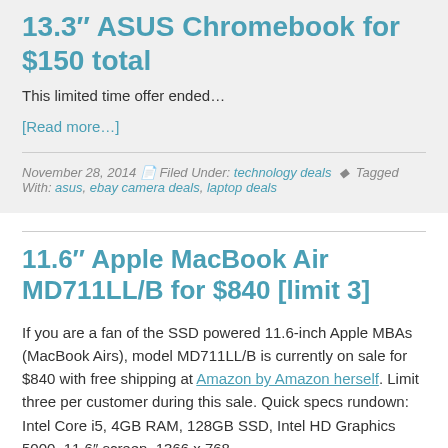13.3″ ASUS Chromebook for $150 total
This limited time offer ended…
[Read more…]
November 28, 2014  Filed Under: technology deals  Tagged With: asus, ebay camera deals, laptop deals
11.6″ Apple MacBook Air MD711LL/B for $840 [limit 3]
If you are a fan of the SSD powered 11.6-inch Apple MBAs (MacBook Airs), model MD711LL/B is currently on sale for $840 with free shipping at Amazon by Amazon herself. Limit three per customer during this sale. Quick specs rundown: Intel Core i5, 4GB RAM, 128GB SSD, Intel HD Graphics 5000, 11.6″ screen, 1366 x 768